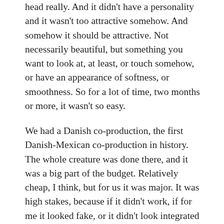head really. And it didn't have a personality and it wasn't too attractive somehow. And somehow it should be attractive. Not necessarily beautiful, but something you want to look at, at least, or touch somehow, or have an appearance of softness, or smoothness. So for a lot of time, two months or more, it wasn't so easy.
We had a Danish co-production, the first Danish-Mexican co-production in history. The whole creature was done there, and it was a big part of the budget. Relatively cheap, I think, but for us it was major. It was high stakes, because if it didn't work, if for me it looked fake, or it didn't look integrated by light, by texture, it was really going to affect the movie. So in the end I was happy I didn't have to take out the creature or something. It's not a Hollywood, big-budget movie where we can do anything. It was pretty precise, and if something went wrong, we weren't going to be able to do anything, so I was very lucky that that worked out. At least, nobody has said that it doesn't look real, you